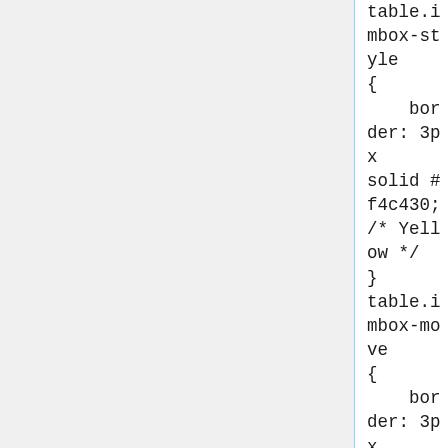table.imbox-style
{
    border: 3px solid #f4c430;
    /* Yellow */
}
table.imbox-move
{
    border: 3px solid #9932cc;
    /* Purple */
}
table.imbox-protection {
    border: 3px solid #bba;
    /* Gray-gold */
}
table.imbox-license {
    border: 3px solid #88a;
    /* Dark gray */
    background: #f7f8ff;